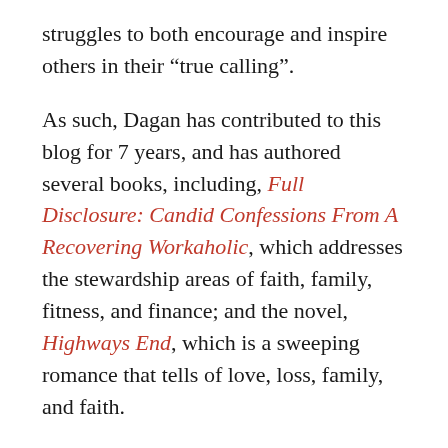struggles to both encourage and inspire others in their “true calling”.
As such, Dagan has contributed to this blog for 7 years, and has authored several books, including, Full Disclosure: Candid Confessions From A Recovering Workaholic, which addresses the stewardship areas of faith, family, fitness, and finance; and the novel, Highways End, which is a sweeping romance that tells of love, loss, family, and faith.
His other books include two written to encourage children and families entitled, STRONG and The Kingdom Scrolls and The Dinosaur Did It.